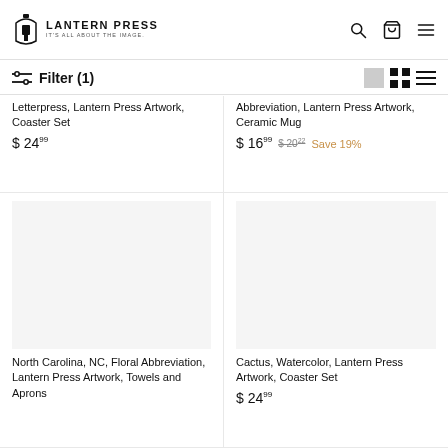Lantern Press — It's All About The Image. [Search] [Cart] [Menu]
Filter (1)
Letterpress, Lantern Press Artwork, Coaster Set
$ 24.99
Abbreviation, Lantern Press Artwork, Ceramic Mug
$ 16.99  $ 20.22  Save 19%
[Figure (photo): Product image placeholder for North Carolina NC Floral Abbreviation Lantern Press Artwork Towels and Aprons]
North Carolina, NC, Floral Abbreviation, Lantern Press Artwork, Towels and Aprons
[Figure (photo): Product image placeholder for Cactus Watercolor Lantern Press Artwork Coaster Set]
Cactus, Watercolor, Lantern Press Artwork, Coaster Set
$ 24.99